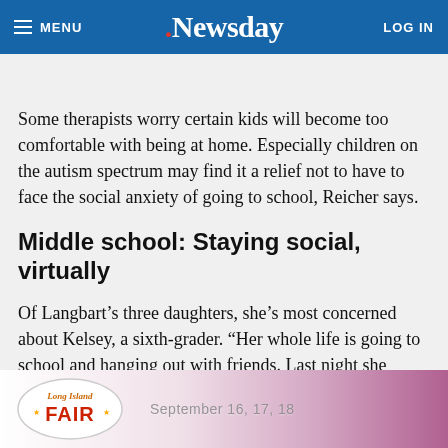MENU | Newsday | LOG IN
SUBSCRIBE $1 FOR 5 MONTHS
Some therapists worry certain kids will become too comfortable with being at home. Especially children on the autism spectrum may find it a relief not to have to face the social anxiety of going to school, Reicher says.
Middle school: Staying social, virtually
Of Langbart’s three daughters, she’s most concerned about Kelsey, a sixth-grader. “Her whole life is going to school and hanging out with friends. Last night she asked me when I thought we would get back to normal. I said, ‘In May, it should…’ [text continues] ’s heartb[roken]
[Figure (photo): Advertisement banner for Long Island Fair, showing oval logo with 'Long Island FAIR' text and colorful gradient background with 'September 16, 17, 18' dates.]